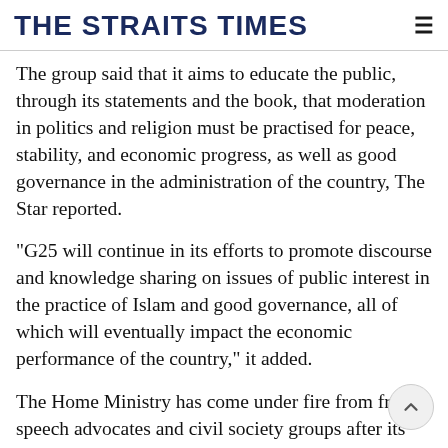THE STRAITS TIMES
The group said that it aims to educate the public, through its statements and the book, that moderation in politics and religion must be practised for peace, stability, and economic progress, as well as good governance in the administration of the country, The Star reported.
"G25 will continue in its efforts to promote discourse and knowledge sharing on issues of public interest in the practice of Islam and good governance, all of which will eventually impact the economic performance of the country," it added.
The Home Ministry has come under fire from free speech advocates and civil society groups after its recent ban on a number of books on moderate